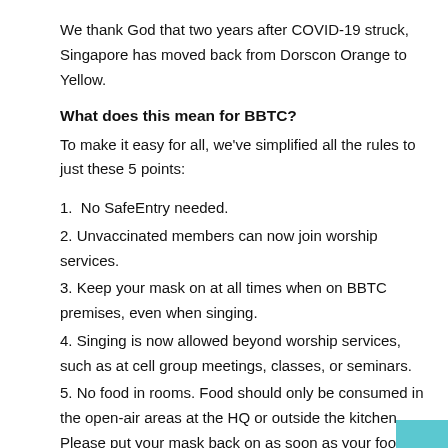We thank God that two years after COVID-19 struck, Singapore has moved back from Dorscon Orange to Yellow.
What does this mean for BBTC?
To make it easy for all, we've simplified all the rules to just these 5 points:
1.  No SafeEntry needed.
2. Unvaccinated members can now join worship services.
3. Keep your mask on at all times when on BBTC premises, even when singing.
4. Singing is now allowed beyond worship services, such as at cell group meetings, classes, or seminars.
5. No food in rooms. Food should only be consumed in the open-air areas at the HQ or outside the kitchen. Please put your mask back on as soon as your food is consumed.